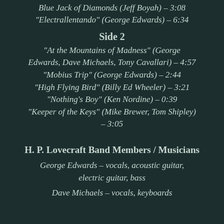Blue Jack of Diamonds (Jeff Boyah) – 3:08
"Electrallentando" (George Edwards) – 6:34
Side 2
"At the Mountains of Madness" (George Edwards, Dave Michaels, Tony Cavallari) – 4:57
"Mobius Trip" (George Edwards) – 2:44
"High Flying Bird" (Billy Ed Wheeler) – 3:21
"Nothing's Boy" (Ken Nordine) – 0:39
"Keeper of the Keys" (Mike Brewer, Tom Shipley) – 3:05
H. P. Lovecraft Band Members / Musicians
George Edwards – vocals, acoustic guitar, electric guitar, bass
Dave Michaels – vocals, keyboards